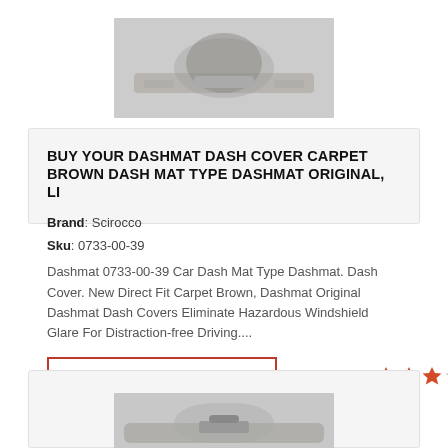[Figure (photo): Car dashboard interior photo, top portion visible]
BUY YOUR DASHMAT DASH COVER CARPET BROWN DASH MAT TYPE DASHMAT ORIGINAL, LI
Brand: Scirocco
Sku: 0733-00-39
Dashmat 0733-00-39 Car Dash Mat Type Dashmat. Dash Cover. New Direct Fit Carpet Brown, Dashmat Original Dashmat Dash Covers Eliminate Hazardous Windshield Glare For Distraction-free Driving....
PRICING & INFO
$30.56
[Figure (other): Star rating: 3 out of 5 stars (3 filled orange, 2 empty gray)]
[Figure (photo): Car dashboard interior photo showing second product]